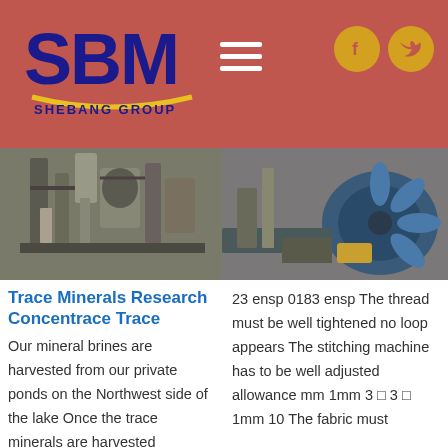SBM Shebang Group website header
[Figure (photo): Industrial mineral processing equipment in a factory, gray steel machinery and pipework]
[Figure (photo): Industrial fan or blower equipment in a factory setting, large blue machinery with yellow components]
Trace Minerals Research Concentrace Trace
Our mineral brines are harvested from our private ponds on the Northwest side of the lake Once the trace minerals are harvested
23 ensp 0183 ensp The thread must be well tightened no loop appears The stitching machine has to be well adjusted allowance mm 1mm 3 □ 3 □ 1mm 10 The fabric must